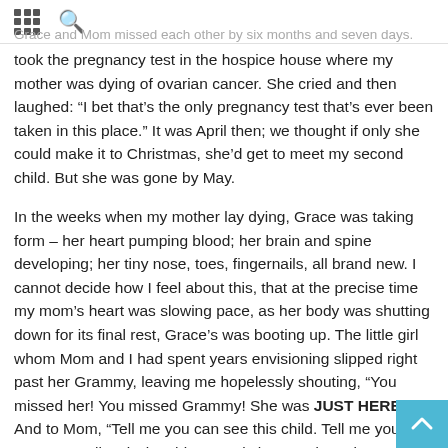Grace and Mom missed each other by six months and seven days.
took the pregnancy test in the hospice house where my mother was dying of ovarian cancer. She cried and then laughed: “I bet that’s the only pregnancy test that’s ever been taken in this place.” It was April then; we thought if only she could make it to Christmas, she’d get to meet my second child. But she was gone by May.
In the weeks when my mother lay dying, Grace was taking form – her heart pumping blood; her brain and spine developing; her tiny nose, toes, fingernails, all brand new. I cannot decide how I feel about this, that at the precise time my mom’s heart was slowing pace, as her body was shutting down for its final rest, Grace’s was booting up. The little girl whom Mom and I had spent years envisioning slipped right past her Grammy, leaving me hopelessly shouting, “You missed her! You missed Grammy! She was JUST HERE!” And to Mom, “Tell me you can see this child. Tell me you aren’t actually missing this.” One is here and one is not.
And now, I see my mother’s legs and her petite hands and her long, narrow fingers and the walnut shell shape of her eyes in my 4-year